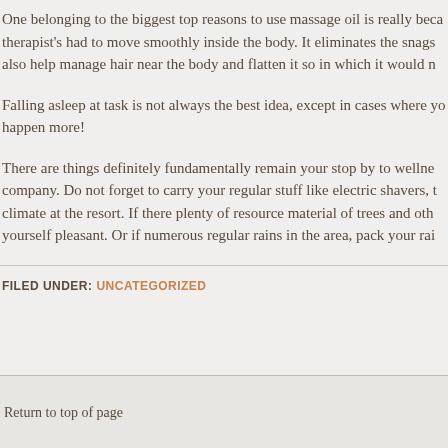One belonging to the biggest top reasons to use massage oil is really because therapist's had to move smoothly inside the body. It eliminates the snags also help manage hair near the body and flatten it so in which it would n
Falling asleep at task is not always the best idea, except in cases where you happen more!
There are things definitely fundamentally remain your stop by to wellness company. Do not forget to carry your regular stuff like electric shavers, t climate at the resort. If there plenty of resource material of trees and oth yourself pleasant. Or if numerous regular rains in the area, pack your rai
FILED UNDER: UNCATEGORIZED
Return to top of page